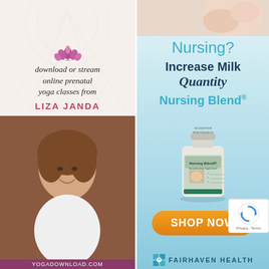[Figure (illustration): Left advertisement banner for Liza Janda prenatal yoga classes. Top section shows lotus flower icon with text 'download or stream online prenatal yoga classes from LIZA JANDA' on light beige background with geometric watermark lines. Bottom section shows photo of a smiling woman with brown hair. Footer text reads 'YOGADOWNLOAD.COM'.]
[Figure (illustration): Right advertisement banner for Fairhaven Health Nursing Blend supplement. Top photo of hands holding baby. Large text reads 'Nursing?' in teal, 'Increase Milk Quantity' in dark bold, 'Nursing Blend' in teal. Shows product bottle image. Orange button reads 'SHOP NOW'. Bottom shows Fairhaven Health logo.]
[Figure (logo): reCAPTCHA badge in bottom right corner with circular arrows logo and text 'Privacy - Terms'.]